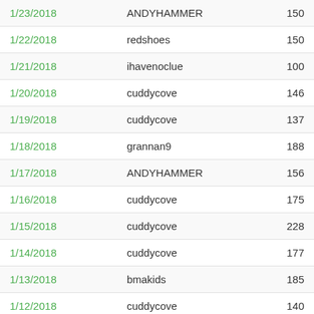| Date | User | Score |
| --- | --- | --- |
| 1/23/2018 | ANDYHAMMER | 150 |
| 1/22/2018 | redshoes | 150 |
| 1/21/2018 | ihavenoclue | 100 |
| 1/20/2018 | cuddycove | 146 |
| 1/19/2018 | cuddycove | 137 |
| 1/18/2018 | grannan9 | 188 |
| 1/17/2018 | ANDYHAMMER | 156 |
| 1/16/2018 | cuddycove | 175 |
| 1/15/2018 | cuddycove | 228 |
| 1/14/2018 | cuddycove | 177 |
| 1/13/2018 | bmakids | 185 |
| 1/12/2018 | cuddycove | 140 |
| 1/11/2018 | cxvfb7 | 197 |